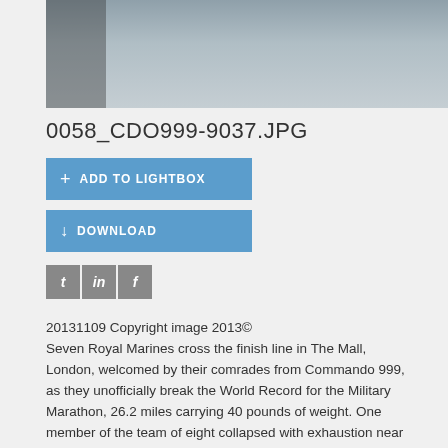[Figure (photo): Photo strip showing Royal Marines at the finish line in The Mall, London]
0058_CDO999-9037.JPG
+ ADD TO LIGHTBOX
↓ DOWNLOAD
[Figure (other): Social media icons: Twitter (t), LinkedIn (in), Facebook (f)]
20131109 Copyright image 2013© Seven Royal Marines cross the finish line in The Mall, London, welcomed by their comrades from Commando 999, as they unofficially break the World Record for the Military Marathon, 26.2 miles carrying 40 pounds of weight. One member of the team of eight collapsed with exhaustion near the the finish line, which means that the record was not officially broken. The new world record is now 4 hours, xx minutes and xx secondsbeating the previous record which has stood for fifteen years.